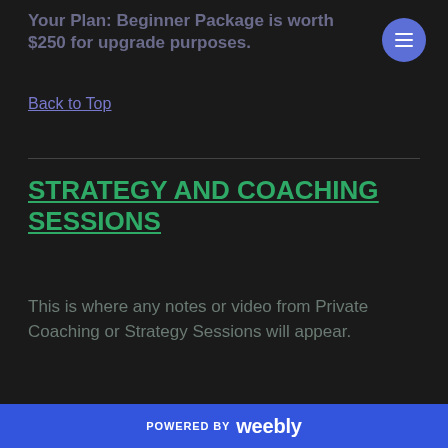Your Plan: Beginner Package is worth $250 for upgrade purposes.
Back to Top
STRATEGY AND COACHING SESSIONS
This is where any notes or video from Private Coaching or Strategy Sessions will appear.
POWERED BY weebly